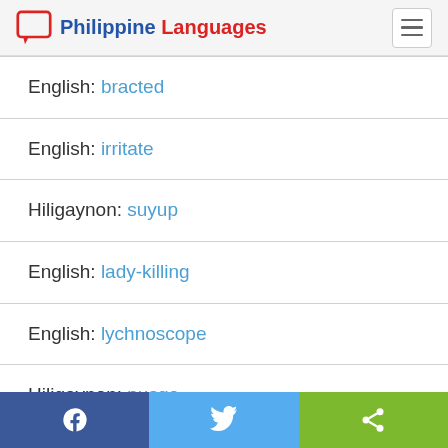Philippine Languages
English: bracted
English: irritate
Hiligaynon: suyup
English: lady-killing
English: lychnoscope
Hiligaynon: pusgo
Facebook | Twitter | Share